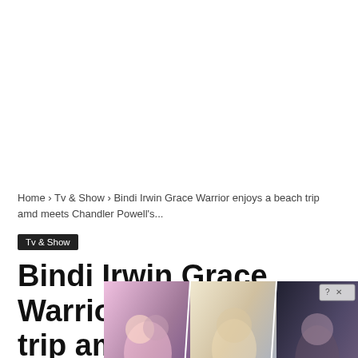Home › Tv & Show › Bindi Irwin Grace Warrior enjoys a beach trip amd meets Chandler Powell's...
Tv & Show
Bindi Irwin Grace Warrior enjoys a beach trip amd meets Chandler Powell's...
[Figure (photo): Advertisement overlay showing anime/illustrated romance scenes with 'Whispers' logo branding and a close button]